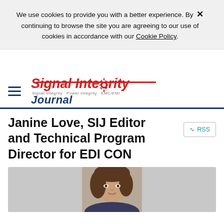We use cookies to provide you with a better experience. By continuing to browse the site you are agreeing to our use of cookies in accordance with our Cookie Policy.
[Figure (logo): Signal Integrity Journal logo with hamburger menu icon]
Janine Love, SIJ Editor and Technical Program Director for EDI CON
[Figure (photo): Headshot photo of Janine Love, a woman with brown hair]